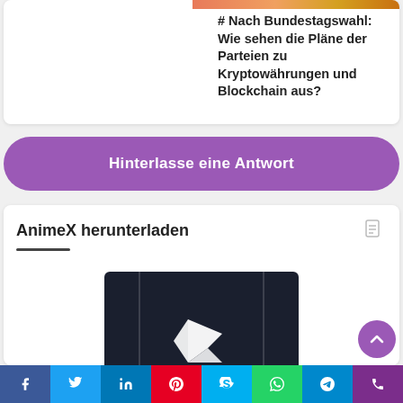[Figure (photo): Partial image at top right of card, colorful gradient overlay]
# Nach Bundestagswahl: Wie sehen die Pläne der Parteien zu Kryptowährungen und Blockchain aus?
Hinterlasse eine Antwort
AnimeX herunterladen
[Figure (screenshot): Dark video thumbnail with white angular play button logo on dark background]
Facebook Twitter LinkedIn Pinterest Skype WhatsApp Telegram Phone social share bar